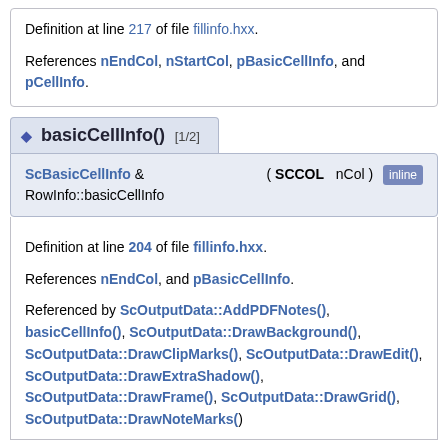Definition at line 217 of file fillinfo.hxx.
References nEndCol, nStartCol, pBasicCellInfo, and pCellInfo.
◆ basicCellInfo() [1/2]
ScBasicCellInfo & RowInfo::basicCellInfo ( SCCOL nCol ) inline
Definition at line 204 of file fillinfo.hxx.
References nEndCol, and pBasicCellInfo.
Referenced by ScOutputData::AddPDFNotes(), basicCellInfo(), ScOutputData::DrawBackground(), ScOutputData::DrawClipMarks(), ScOutputData::DrawEdit(), ScOutputData::DrawExtraShadow(), ScOutputData::DrawFrame(), ScOutputData::DrawGrid(),